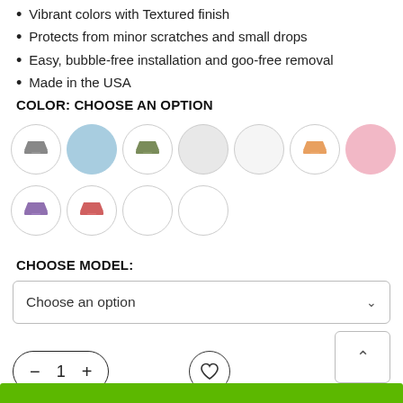Vibrant colors with Textured finish
Protects from minor scratches and small drops
Easy, bubble-free installation and goo-free removal
Made in the USA
COLOR: CHOOSE AN OPTION
[Figure (other): Color option circles: dark gray laptop skin, light blue solid, olive/dark green laptop skin, light gray solid, white/very light gray solid, orange laptop skin, pink solid, purple laptop skin, red/coral laptop skin, white outline circle, white outline circle]
CHOOSE MODEL:
[Figure (other): Dropdown selector with text 'Choose an option' and a chevron down arrow]
[Figure (other): Scroll up button (chevron up)]
[Figure (other): Quantity control with minus, 1, plus buttons and a heart/wishlist button]